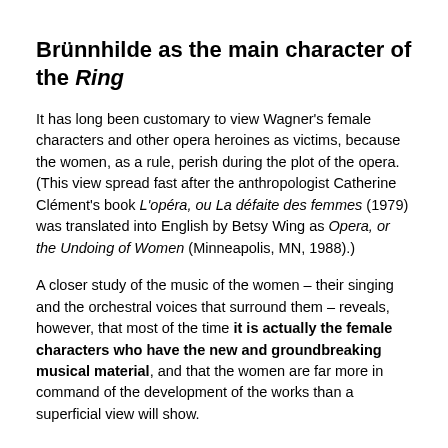Brünnhilde as the main character of the Ring
It has long been customary to view Wagner's female characters and other opera heroines as victims, because the women, as a rule, perish during the plot of the opera. (This view spread fast after the anthropologist Catherine Clément's book L'opéra, ou La défaite des femmes (1979) was translated into English by Betsy Wing as Opera, or the Undoing of Women (Minneapolis, MN, 1988).)
A closer study of the music of the women – their singing and the orchestral voices that surround them – reveals, however, that most of the time it is actually the female characters who have the new and groundbreaking musical material, and that the women are far more in command of the development of the works than a superficial view will show.